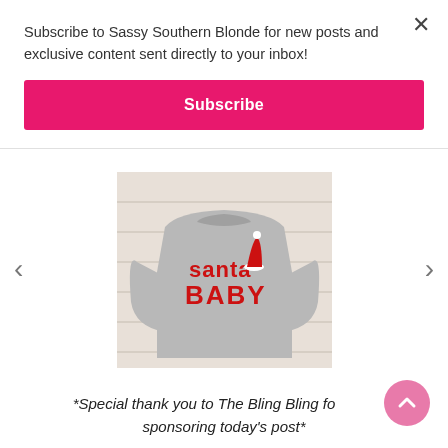Subscribe to Sassy Southern Blonde for new posts and exclusive content sent directly to your inbox!
Subscribe
[Figure (photo): Gray crewneck sweatshirt with 'santa BABY' text in red and a Santa hat graphic, displayed on a white wood plank background. Left and right carousel navigation arrows are visible on either side.]
*Special thank you to The Bling Bling for sponsoring today's post*
LEAVE A COMMENT